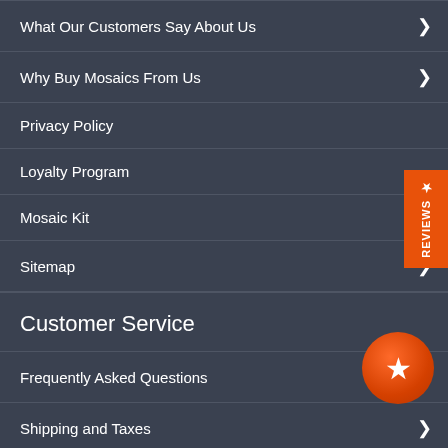What Our Customers Say About Us
Why Buy Mosaics From Us
Privacy Policy
Loyalty Program
Mosaic Kit
Sitemap
Customer Service
Frequently Asked Questions
Shipping and Taxes
Return Policy
Order Status
Contact Us